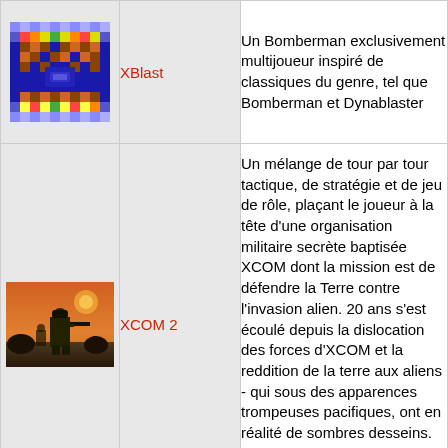[Figure (screenshot): XBlast game screenshot showing a Bomberman-style pixel-art maze level]
XBlast
Un Bomberman exclusivement multijoueur inspiré de classiques du genre, tel que Bomberman et Dynablaster
[Figure (photo): XCOM 2 game screenshot showing a soldier in combat at sunset]
XCOM 2
Un mélange de tour par tour tactique, de stratégie et de jeu de rôle, plaçant le joueur à la tête d'une organisation militaire secrète baptisée XCOM dont la mission est de défendre la Terre contre l'invasion alien. 20 ans s'est écoulé depuis la dislocation des forces d'XCOM et la reddition de la terre aux aliens - qui sous des apparences trompeuses pacifiques, ont en réalité de sombres desseins. Une force tente de se reconstruire afin de lutter pour le salut de l'humanité